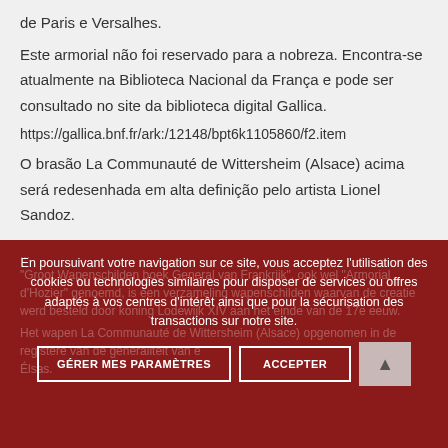de Paris e Versalhes.
Este armorial não foi reservado para a nobreza. Encontra-se atualmente na Biblioteca Nacional da França e pode ser consultado no site da biblioteca digital Gallica.
https://gallica.bnf.fr/ark:/12148/bpt6k1105860/f2.item
O brasão La Communauté de Wittersheim (Alsace) acima será redesenhada em alta definição pelo artista Lionel Sandoz.
En poursuivant votre navigation sur ce site, vous acceptez l'utilisation des cookies ou technologies similaires pour disposer de services ou offres adaptés à vos centres d'intérêt ainsi que pour la sécurisation des transactions sur notre site.
"Groot Wapenschilden boek General van Frankrijk", ook wel "Armorial d'Hozier" genoemd, is een verzameling wapenschilden waarvan de creatie werd besteld door koning Lodewijk XIV aan het einde van de 17e eeuw.
Het wapen La Communauté de Wittersheim (Alsace) opgenomen in de registere van de généraliteit van élsas.
GÉRER MES PARAMÈTRES
ACCEPTER